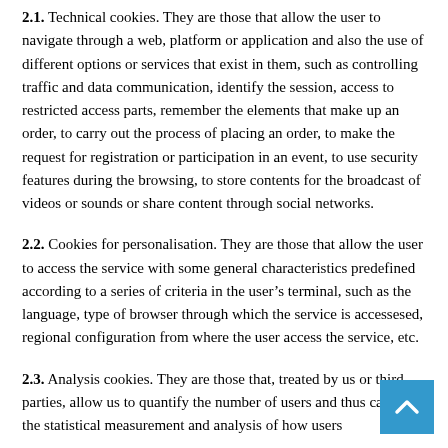2.1. Technical cookies. They are those that allow the user to navigate through a web, platform or application and also the use of different options or services that exist in them, such as controlling traffic and data communication, identify the session, access to restricted access parts, remember the elements that make up an order, to carry out the process of placing an order, to make the request for registration or participation in an event, to use security features during the browsing, to store contents for the broadcast of videos or sounds or share content through social networks.
2.2. Cookies for personalisation. They are those that allow the user to access the service with some general characteristics predefined according to a series of criteria in the user's terminal, such as the language, type of browser through which the service is accessesed, regional configuration from where the user access the service, etc.
2.3. Analysis cookies. They are those that, treated by us or third parties, allow us to quantify the number of users and thus carry out the statistical measurement and analysis of how users